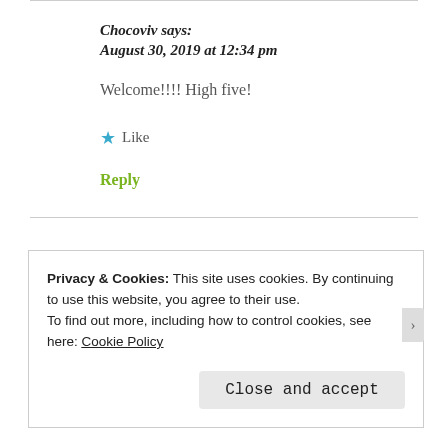Chocoviv says:
August 30, 2019 at 12:34 pm
Welcome!!!! High five!
★ Like
Reply
Privacy & Cookies: This site uses cookies. By continuing to use this website, you agree to their use.
To find out more, including how to control cookies, see here: Cookie Policy
Close and accept